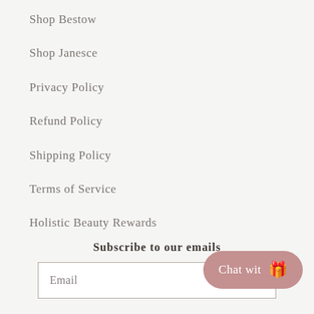Shop Bestow
Shop Janesce
Privacy Policy
Refund Policy
Shipping Policy
Terms of Service
Holistic Beauty Rewards
Subscribe to our emails
Email
Chat wit 🎁